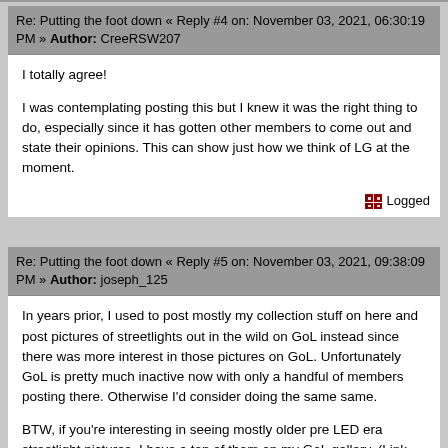Re: Putting the foot down « Reply #4 on: November 03, 2021, 06:30:19 PM » Author: CreeRSW207
I totally agree!
I was contemplating posting this but I knew it was the right thing to do, especially since it has gotten other members to come out and state their opinions. This can show just how we think of LG at the moment.
Logged
Re: Putting the foot down « Reply #5 on: November 03, 2021, 09:38:09 PM » Author: joseph_125
In years prior, I used to post mostly my collection stuff on here and post pictures of streetlights out in the wild on GoL instead since there was more interest in those pictures on GoL. Unfortunately GoL is pretty much inactive now with only a handful of members posting there. Otherwise I'd consider doing the same same.
BTW, if you're interesting in seeing mostly older pre LED era streetlight pictures, I have a ton of them on my GoL gallery. (Link under my profile pic) I never did upload some of them here mainly because the upload limits would mean I would need to upload 10 a day for a month to get most of them over.